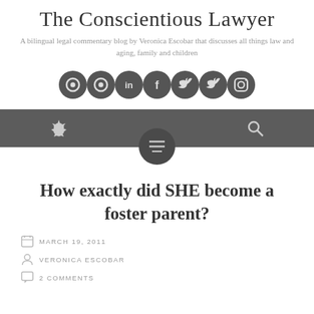The Conscientious Lawyer
A bilingual legal commentary blog by Veronica Escobar that discusses all things law and aging, family and children
[Figure (infographic): Seven dark circular social media icon buttons in a row]
[Figure (infographic): Dark grey navigation bar with gear icon on left and search icon on right, and a circular menu toggle button centered below]
How exactly did SHE become a foster parent?
MARCH 19, 2011
VERONICA ESCOBAR
2 COMMENTS